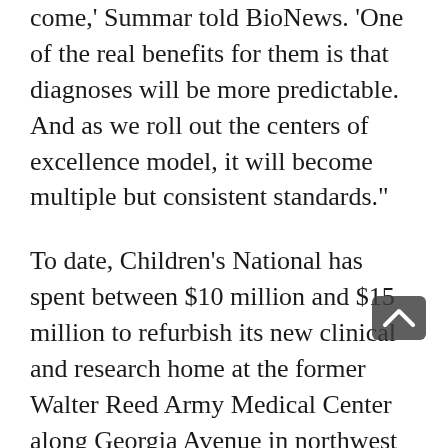come,' Summar told BioNews. 'One of the real benefits for them is that diagnoses will be more predictable. And as we roll out the centers of excellence model, it will become multiple but consistent standards.'
To date, Children's National has spent between $10 million and $15 million to refurbish its new clinical and research home at the former Walter Reed Army Medical Center along Georgia Avenue in northwest Washington. The 12-acre property, which was vacated in 2011, includes the Armed Forces Institute of Pathology building, a large parking lot